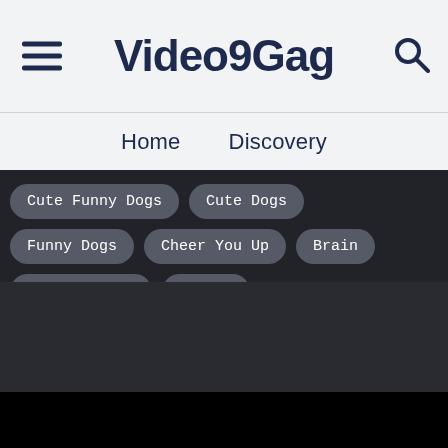Video9Gag
Home
Discovery
Cute Funny Dogs
Cute Dogs
Funny Dogs
Cheer You Up
Brain
Cute Animals
Lovers
[Figure (screenshot): Dark content area below the navigation tags, representing a video or content loading area split into a dark gray section and a black section.]